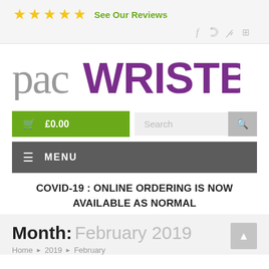★★★★★ See Our Reviews | social icons: f, twitter, pinterest, instagram
[Figure (logo): pacWRISTBANDS logo — 'pac' in light grey serif, 'WRISTBANDS' in bold purple sans-serif]
🛒 £0.00  Search
≡ MENU
COVID-19 : ONLINE ORDERING IS NOW AVAILABLE AS NORMAL
Month: February 2019
Home ▶ 2019 ▶ February